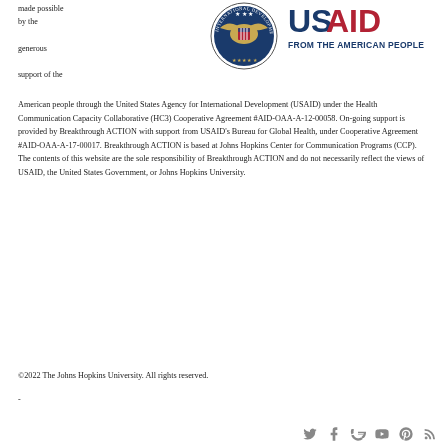made possible by the generous support of the
[Figure (logo): USAID logo with circular seal on the left and 'USAID FROM THE AMERICAN PEOPLE' text on the right in blue and red]
American people through the United States Agency for International Development (USAID) under the Health Communication Capacity Collaborative (HC3) Cooperative Agreement #AID-OAA-A-12-00058. On-going support is provided by Breakthrough ACTION with support from USAID's Bureau for Global Health, under Cooperative Agreement #AID-OAA-A-17-00017. Breakthrough ACTION is based at Johns Hopkins Center for Communication Programs (CCP). The contents of this website are the sole responsibility of Breakthrough ACTION and do not necessarily reflect the views of USAID, the United States Government, or Johns Hopkins University.
©2022 The Johns Hopkins University. All rights reserved.
-
[Figure (other): Social media icons: Twitter, Facebook, Google+, YouTube, Pinterest, RSS]